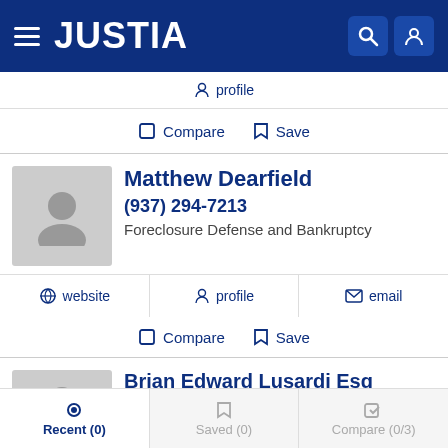JUSTIA
profile
Compare  Save
Matthew Dearfield
(937) 294-7213
Foreclosure Defense and Bankruptcy
website  profile  email
Compare  Save
Brian Edward Lusardi Esq
(937) 372-6921
Recent (0)  Saved (0)  Compare (0/3)